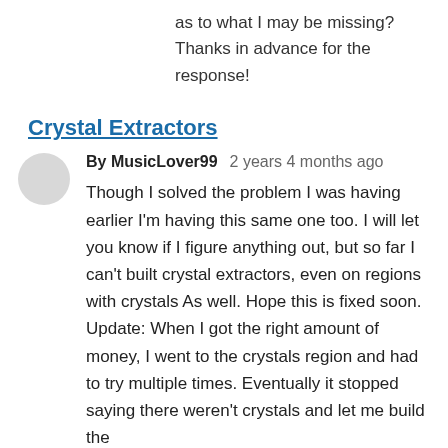as to what I may be missing? Thanks in advance for the response!
Crystal Extractors
By MusicLover99   2 years 4 months ago
Though I solved the problem I was having earlier I'm having this same one too. I will let you know if I figure anything out, but so far I can't built crystal extractors, even on regions with crystals As well. Hope this is fixed soon. Update: When I got the right amount of money, I went to the crystals region and had to try multiple times. Eventually it stopped saying there weren't crystals and let me build the extractors, so it seems that repetition works to